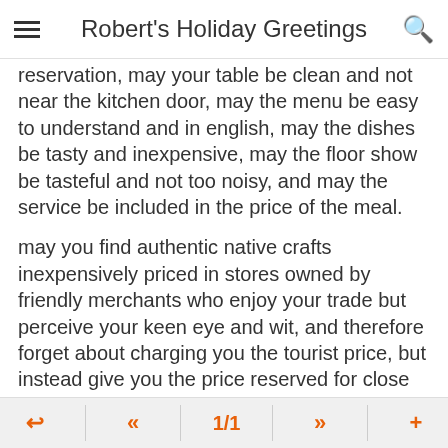Robert's Holiday Greetings
reservation, may your table be clean and not near the kitchen door, may the menu be easy to understand and in english, may the dishes be tasty and inexpensive, may the floor show be tasteful and not too noisy, and may the service be included in the price of the meal.
may you find authentic native crafts inexpensively priced in stores owned by friendly merchants who enjoy your trade but perceive your keen eye and wit, and therefore forget about charging you the tourist price, but instead give you the price reserved for close family members.
may you be free from thieves and pickpockets, since you are obviously too street savvy
1/1